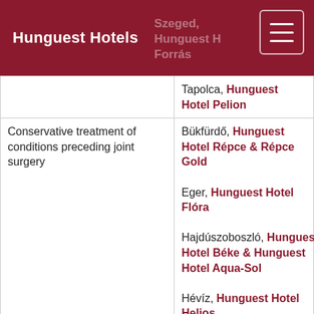Hunguest Hotels
|  | Szeged, Hunguest Hotel Forrás
Tapolca, Hunguest Hotel Pelion |
| Conservative treatment of conditions preceding joint surgery | Bükfürdő, Hunguest Hotel Répce & Répce Gold
Eger, Hunguest Hotel Flóra
Hajdúszoboszló, Hunguest Hotel Béke & Hunguest Hotel Aqua-Sol
Hévíz, Hunguest Hotel Helios
Szeged, Hunguest Hotel Forrás
Tapolca, Hunguest Hotel |